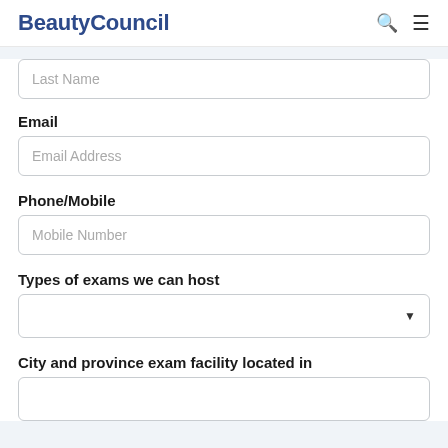BeautyCouncil
Last Name
Email
Email Address
Phone/Mobile
Mobile Number
Types of exams we can host
City and province exam facility located in